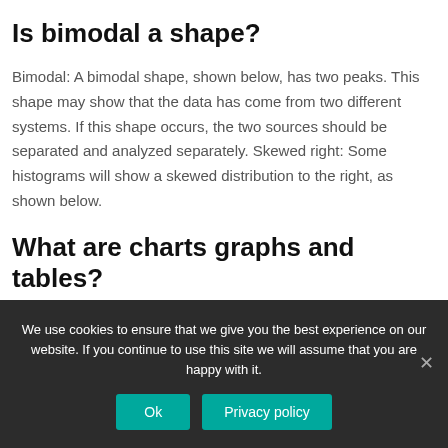Is bimodal a shape?
Bimodal: A bimodal shape, shown below, has two peaks. This shape may show that the data has come from two different systems. If this shape occurs, the two sources should be separated and analyzed separately. Skewed right: Some histograms will show a skewed distribution to the right, as shown below.
What are charts graphs and tables?
Tables, graphs, and charts are an easy way to clearly show
We use cookies to ensure that we give you the best experience on our website. If you continue to use this site we will assume that you are happy with it.